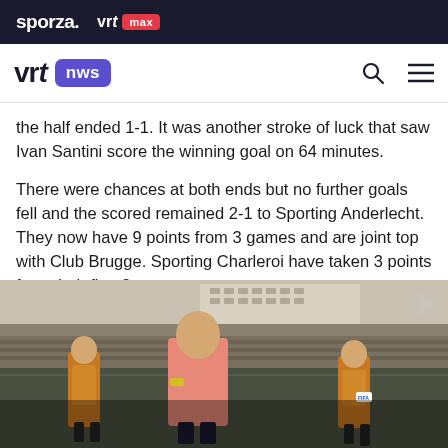sporza. vrt max
vrt nws
the half ended 1-1. It was another stroke of luck that saw Ivan Santini score the winning goal on 64 minutes.
There were chances at both ends but no further goals fell and the scored remained 2-1 to Sporting Anderlecht. They now have 9 points from 3 games and are joint top with Club Brugge. Sporting Charleroi have taken 3 points from their first 3 games.
[Figure (photo): Football referees in orange vests escorting a player in a pink/salmon goalkeeper shirt on the pitch, with a crowded stadium in the background.]